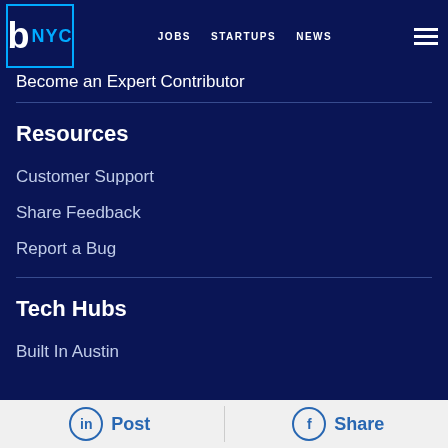b NYC | JOBS  STARTUPS  NEWS
Become an Expert Contributor
Resources
Customer Support
Share Feedback
Report a Bug
Tech Hubs
Built In Austin
Post  Share